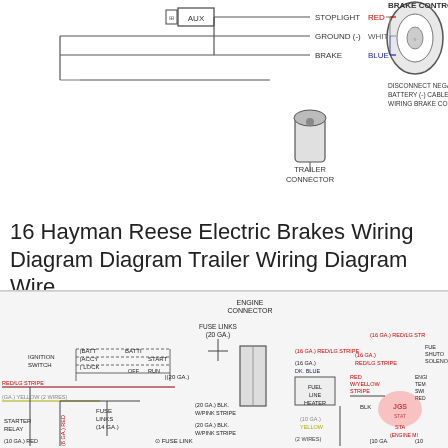[Figure (schematic): Partial wiring schematic showing AUX connector with STOPLIGHT (RED), GROUND (-) (WHITE), and BRAKE (BLUE) wires connecting to BRAKE CONTROL unit, and a TRAILER CONNECTOR. Note: DISCONNECT NEGATIVE BATTERY (-) CABLE BEFORE WIRING BRAKE CONTROL UNIT.]
16 Hayman Reese Electric Brakes Wiring Diagram Diagram Trailer Wiring Diagram Wire
[Figure (schematic): Automotive wiring diagram showing ENGINE CONNECTOR, FUSE LINKS (20 GA.), IGNITION SWITCH with BATT, ACCY, LOCK, OFF, RUN, START positions, BATTI connection, RED/LG STRIPE wires, (GA.) YELLOW (2 WIRES), FUSE LINKS (14 GA.), (20 GA.) BLK. W/PINK STRIPE, (20 GA.) BLK. W/PINK STRIPE, (16 GA.) RED/LG STRIPE, (16 GA.) DK. BLUE, FUEL LINE HEATER, (16 GA.) RED/LG STRIPE, RED W/YELLOW STRIPE, BLK, (10 GA.) YELLOW, (2 WIRES), STARTER RELAY, (10 GA.) RED, (8 GA.) RED, FUSE LINK, ENGINE TEMPERATURE SWITCH, FUEL SHUTOFF SOLENOID, (16 GA.) RED/LG STRIPE label, and watermark logo.]